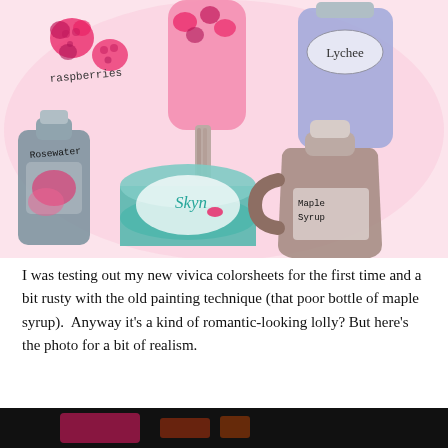[Figure (illustration): Watercolor illustration on pink background showing: raspberries (labeled 'raspberries'), a pink popsicle/lolly, a blue bottle labeled 'Lychee', a grey-blue bottle labeled 'Rosewater' with a pink label, a teal/mint container labeled 'Skyn' with a red lip/kiss mark, and a brown jug labeled 'Maple Syrup'.]
I was testing out my new vivica colorsheets for the first time and a bit rusty with the old painting technique (that poor bottle of maple syrup).  Anyway it's a kind of romantic-looking lolly? But here's the photo for a bit of realism.
[Figure (photo): Bottom portion of a dark photograph, mostly black with hints of pink and orange/gold colors visible at the bottom edge.]